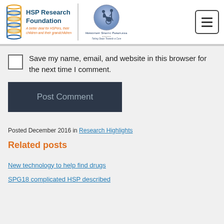[Figure (logo): HSP Research Foundation logo with DNA icon, text 'HSP Research Foundation', subtitle 'A better deal for HSPers, their children and their grandchildren']
[Figure (logo): Hereditary Spastic Paraplegia logo with circular emblem showing person in wheelchair and standing figure, text 'Hereditary Spastic Paraplegia Taking Steps Towards a Cure']
Save my name, email, and website in this browser for the next time I comment.
Post Comment
Posted December 2016 in Research Highlights
Related posts
New technology to help find drugs
SPG18 complicated HSP described